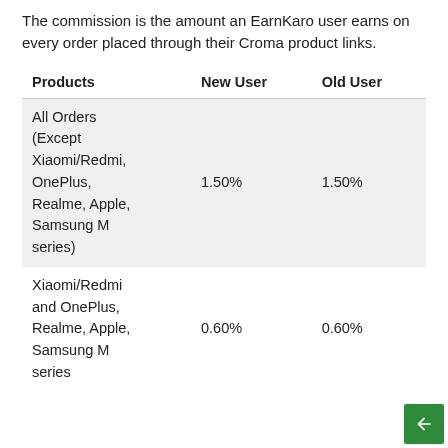The commission is the amount an EarnKaro user earns on every order placed through their Croma product links.
| Products | New User | Old User |
| --- | --- | --- |
| All Orders (Except Xiaomi/Redmi, OnePlus, Realme, Apple, Samsung M series) | 1.50% | 1.50% |
| Xiaomi/Redmi and OnePlus, Realme, Apple, Samsung M series | 0.60% | 0.60% |